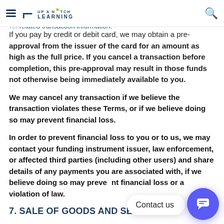Up A Notch Learning
designate for the transaction. You also authorize us to collect and store that funding instrument, along with related transaction information.
If you pay by credit or debit card, we may obtain a pre-approval from the issuer of the card for an amount as high as the full price. If you cancel a transaction before completion, this pre-approval may result in those funds not otherwise being immediately available to you.
We may cancel any transaction if we believe the transaction violates these Terms, or if we believe doing so may prevent financial loss.
In order to prevent financial loss to you or to us, we may contact your funding instrument issuer, law enforcement, or affected third parties (including other users) and share details of any payments you are associated with, if we believe doing so may prevent financial loss or a violation of law.
7. SALE OF GOODS AND SERVICES